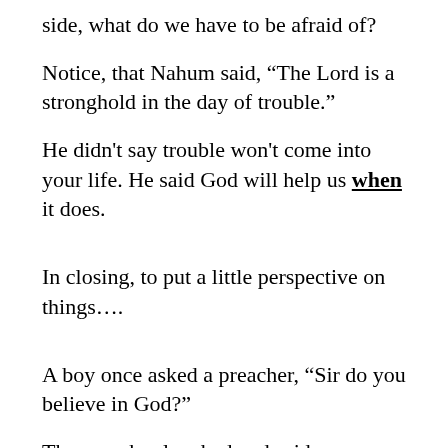side, what do we have to be afraid of?
Notice, that Nahum said, “The Lord is a stronghold in the day of trouble.”
He didn't say trouble won't come into your life. He said God will help us when it does.
In closing, to put a little perspective on things….
A boy once asked a preacher, “Sir do you believe in God?”
The preacher laughed and said,